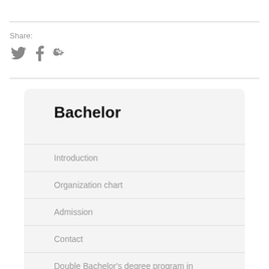Share:
[Figure (illustration): Social media icons: Twitter bird, Facebook f, Google+]
Bachelor
Introduction
Organization chart
Admission
Contact
Double Bachelor's degree program in Chemistry